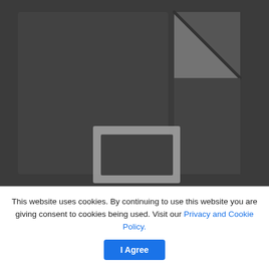[Figure (illustration): A dark gray background showing a blurred document/file icon with a folded corner at top-right and a white rectangular window or page section in the lower center, suggesting a file or document viewer interface.]
This website uses cookies. By continuing to use this website you are giving consent to cookies being used. Visit our Privacy and Cookie Policy.